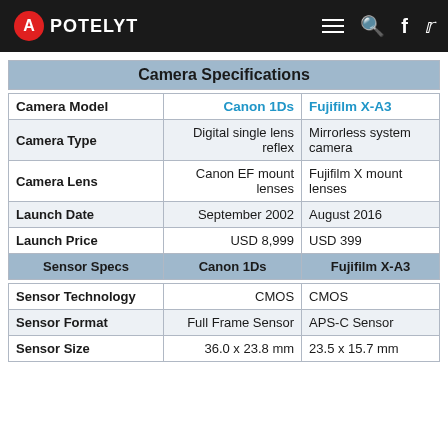APOTELYT
| Camera Specifications |  |  |
| --- | --- | --- |
| Camera Model | Canon 1Ds | Fujifilm X-A3 |
| Camera Type | Digital single lens reflex | Mirrorless system camera |
| Camera Lens | Canon EF mount lenses | Fujifilm X mount lenses |
| Launch Date | September 2002 | August 2016 |
| Launch Price | USD 8,999 | USD 399 |
| Sensor Specs | Canon 1Ds | Fujifilm X-A3 |
| Sensor Technology | CMOS | CMOS |
| Sensor Format | Full Frame Sensor | APS-C Sensor |
| Sensor Size | 36.0 x 23.8 mm | 23.5 x 15.7 mm |